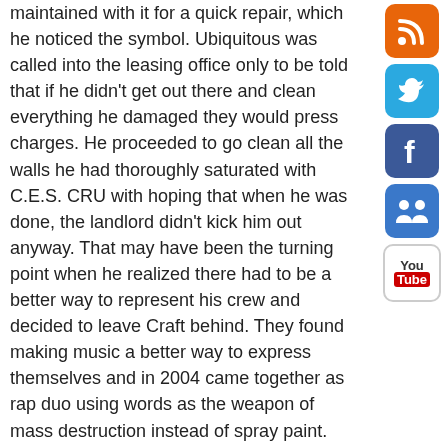maintained with it for a quick repair, which he noticed the symbol. Ubiquitous was called into the leasing office only to be told that if he didn't get out there and clean everything he damaged they would press charges. He proceeded to go clean all the walls he had thoroughly saturated with C.E.S. CRU with hoping that when he was done, the landlord didn't kick him out anyway. That may have been the turning point when he realized there had to be a better way to represent his crew and decided to leave Craft behind. They found making music a better way to express themselves and in 2004 came together as rap duo using words as the weapon of mass destruction instead of spray paint.
While in biology class in college Ubi came across "Ubiquitous". A word that's quite relative to what C.E.S. Cru represents. If you look at what Strange has accomplished, he fits right in. "It's just a word in the dictionary, that means: 1.To be ever present. 2. To be in
[Figure (other): Sidebar social media icons: RSS (orange), Twitter (blue bird), Facebook (blue f), Share (blue people icon), YouTube (You/Tube logo)]